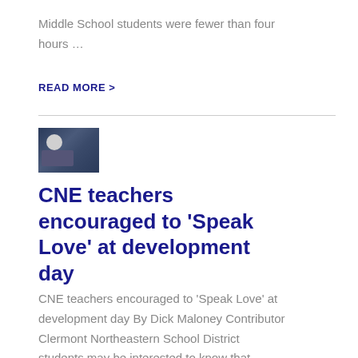Middle School students were fewer than four hours ...
READ MORE >
[Figure (photo): Group of people gathered indoors, appears to be a school or community event with blue backdrop]
CNE teachers encouraged to ‘Speak Love’ at development day
CNE teachers encouraged to ‘Speak Love’ at development day By Dick Maloney Contributor Clermont Northeastern School District students may be interested to know that seve...